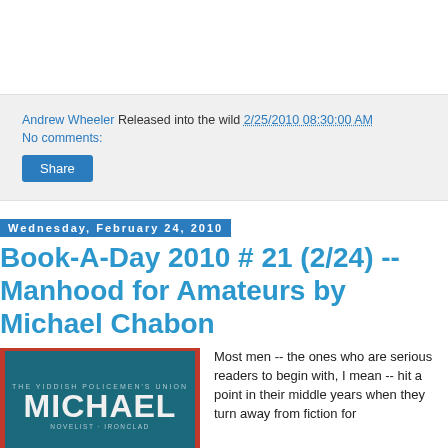Andrew Wheeler Released into the wild 2/25/2010 08:30:00 AM
No comments:
Share
Wednesday, February 24, 2010
Book-A-Day 2010 # 21 (2/24) -- Manhood for Amateurs by Michael Chabon
[Figure (photo): Book cover for Manhood for Amateurs by Michael Chabon, teal/dark background with large red and white text reading MICHAEL, red bar at bottom]
Most men -- the ones who are serious readers to begin with, I mean -- hit a point in their middle years when they turn away from fiction for